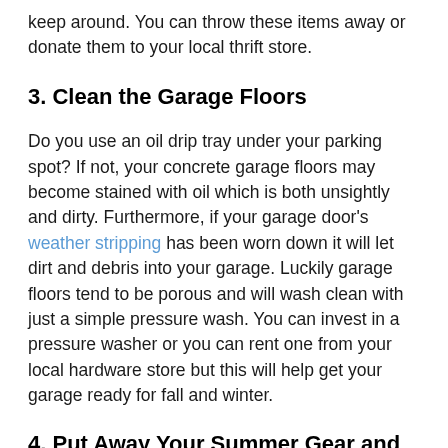keep around. You can throw these items away or donate them to your local thrift store.
3. Clean the Garage Floors
Do you use an oil drip tray under your parking spot? If not, your concrete garage floors may become stained with oil which is both unsightly and dirty. Furthermore, if your garage door's weather stripping has been worn down it will let dirt and debris into your garage. Luckily garage floors tend to be porous and will wash clean with just a simple pressure wash. You can invest in a pressure washer or you can rent one from your local hardware store but this will help get your garage ready for fall and winter.
4. Put Away Your Summer Gear and Keep Winter Gear in Close Reach